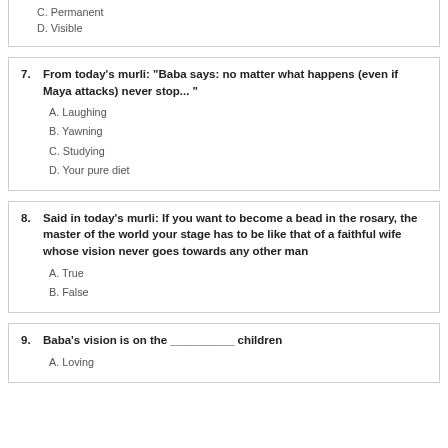D. Visible
7. From today's murli: "Baba says: no matter what happens (even if Maya attacks) never stop... "
A. Laughing
B. Yawning
C. Studying
D. Your pure diet
8. Said in today's murli: If you want to become a bead in the rosary, the master of the world your stage has to be like that of a faithful wife whose vision never goes towards any other man
A. True
B. False
9. Baba's vision is on the __________ children
A. Loving